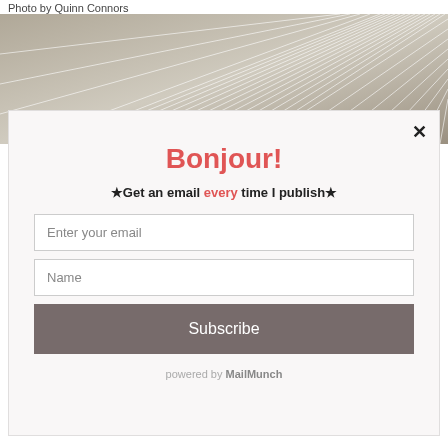Photo by Quinn Connors
[Figure (photo): Abstract photo showing radiating white lines on a tan/gray background, appears to be a ceiling or architectural detail]
[Figure (screenshot): Email subscription modal popup with title 'Bonjour!', subtitle '★Get an email every time I publish★', email input field, name input field, Subscribe button, and 'powered by MailMunch' footer]
Bonjour!
★Get an email every time I publish★
Enter your email
Name
Subscribe
powered by MailMunch